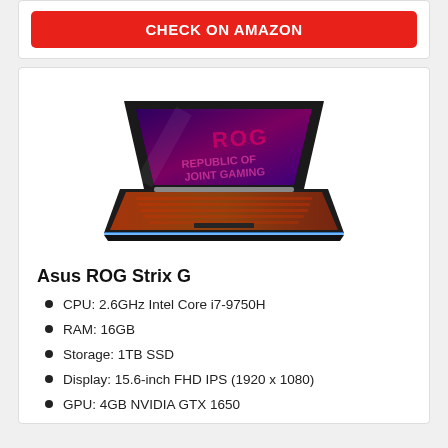CHECK ON AMAZON
[Figure (photo): ASUS ROG Strix G gaming laptop shown at an angle with the screen open displaying the ROG branding on a dark purple/pink background, and an illuminated orange keyboard visible.]
Asus ROG Strix G
CPU: 2.6GHz Intel Core i7-9750H
RAM: 16GB
Storage: 1TB SSD
Display: 15.6-inch FHD IPS (1920 x 1080)
GPU: 4GB NVIDIA GTX 1650